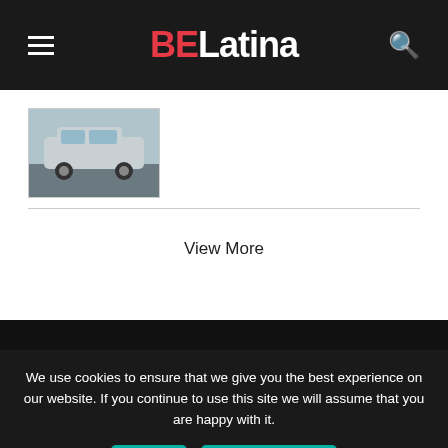BELatina
[Figure (photo): Thumbnail image of a silver SUV car on a road]
View More
[Figure (logo): BELatina large white logo on dark background]
We use cookies to ensure that we give you the best experience on our website. If you continue to use this site we will assume that you are happy with it.
Ok   Privacy policy